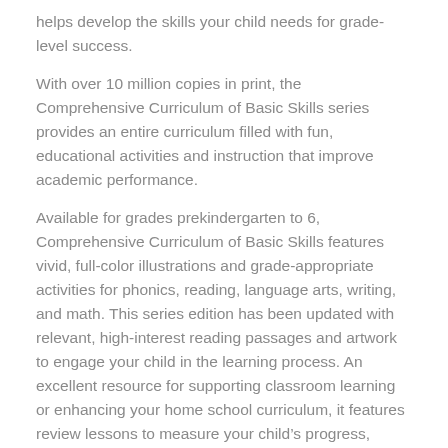helps develop the skills your child needs for grade-level success.
With over 10 million copies in print, the Comprehensive Curriculum of Basic Skills series provides an entire curriculum filled with fun, educational activities and instruction that improve academic performance.
Available for grades prekindergarten to 6, Comprehensive Curriculum of Basic Skills features vivid, full-color illustrations and grade-appropriate activities for phonics, reading, language arts, writing, and math. This series edition has been updated with relevant, high-interest reading passages and artwork to engage your child in the learning process. An excellent resource for supporting classroom learning or enhancing your home school curriculum, it features review lessons to measure your child’s progress, teaching suggestions to extend learning, and answer keys to monitor accuracy.
Features: